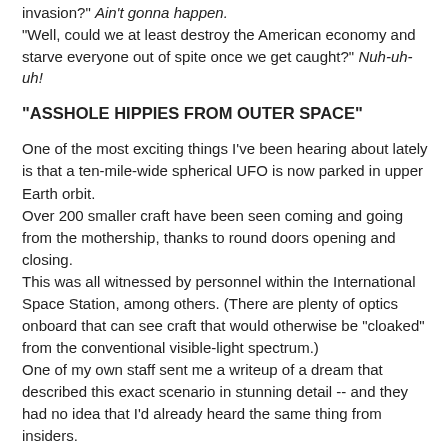invasion?" Ain't gonna happen.
"Well, could we at least destroy the American economy and starve everyone out of spite once we get caught?" Nuh-uh-uh!
"ASSHOLE HIPPIES FROM OUTER SPACE"
One of the most exciting things I've been hearing about lately is that a ten-mile-wide spherical UFO is now parked in upper Earth orbit.
Over 200 smaller craft have been seen coming and going from the mothership, thanks to round doors opening and closing.
This was all witnessed by personnel within the International Space Station, among others. (There are plenty of optics onboard that can see craft that would otherwise be "cloaked" from the conventional visible-light spectrum.)
One of my own staff sent me a writeup of a dream that described this exact scenario in stunning detail -- and they had no idea that I'd already heard the same thing from insiders.
It has become very difficult to piece together exactly what is